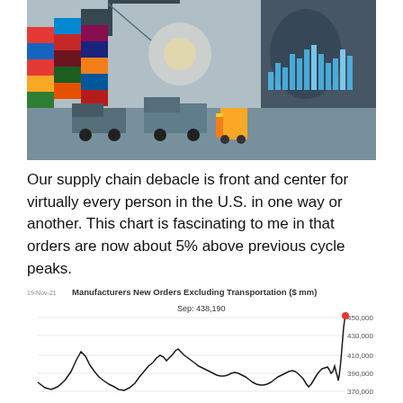[Figure (photo): Supply chain / shipping port photo showing colorful stacked containers, trucks, a forklift, and a financial chart overlay in the background]
Our supply chain debacle is front and center for virtually every person in the U.S. in one way or another. This chart is fascinating to me in that orders are now about 5% above previous cycle peaks.
[Figure (continuous-plot): Manufacturers New Orders Excluding Transportation ($ mm) line chart. Date label: 19-Nov-21. Annotation: Sep: 438,190. Y-axis labels: 450,000, 430,000, 410,000, 390,000, 370,000. Shows multiple economic cycles with a sharp upward spike at the right end reaching near 438,190, marked with a red dot.]